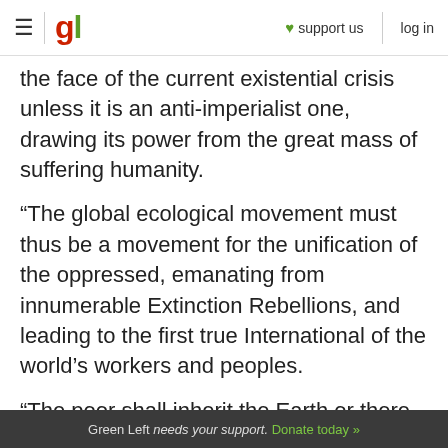gl | support us | log in
the face of the current existential crisis unless it is an anti-imperialist one, drawing its power from the great mass of suffering humanity.
“The global ecological movement must thus be a movement for the unification of the oppressed, emanating from innumerable Extinction Rebellions, and leading to the first true International of the world’s workers and peoples.
“The poor shall inherit the Earth or there will be no Earth left to inherit.”
Zombie-like drive for profit
Green Left needs your support. Donate today »